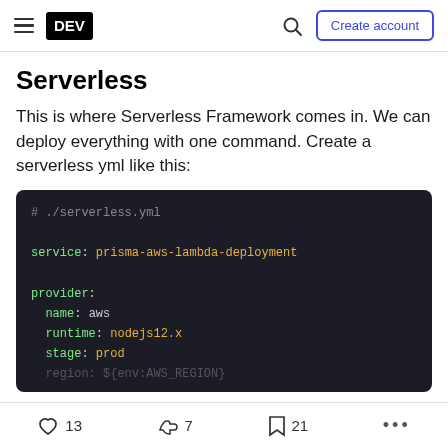DEV | Create account
Serverless
This is where Serverless Framework comes in. We can deploy everything with one command. Create a serverless yml like this:
[Figure (screenshot): Code block showing serverless.yml configuration with service: prisma-aws-lambda-deployment, provider: name: aws, runtime: nodejs12.x, stage: prod]
13  7  21  ...